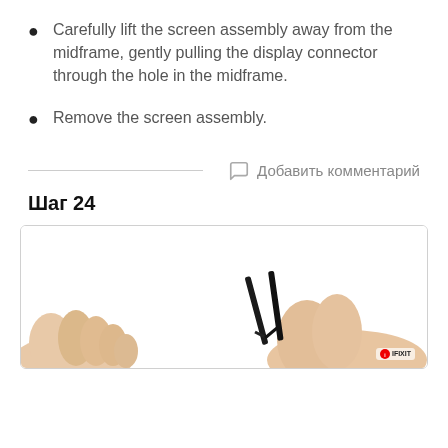Carefully lift the screen assembly away from the midframe, gently pulling the display connector through the hole in the midframe.
Remove the screen assembly.
Добавить комментарий
Шаг 24
[Figure (photo): A person holding tweezers (iFixit branded) with both hands, working on a small component. The image is partially cropped, showing hands at the bottom of the frame against a white background.]